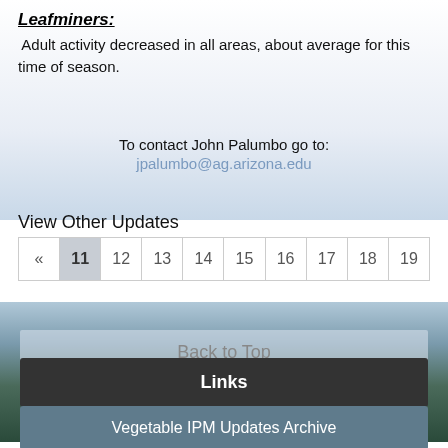Leafminers:
Adult activity decreased in all areas, about average for this time of season.
To contact John Palumbo go to:
jpalumbo@ag.arizona.edu
View Other Updates
| « | 11 | 12 | 13 | 14 | 15 | 16 | 17 | 18 | 19 |
| --- | --- | --- | --- | --- | --- | --- | --- | --- | --- |
Back to Top
Links
Vegetable IPM Updates Archive